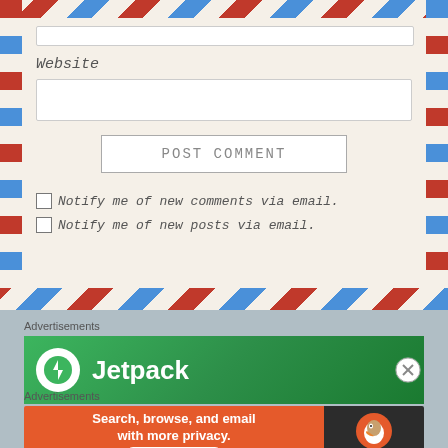[Figure (screenshot): Airmail envelope styled web form with Website label, text input field, POST COMMENT button, and two checkbox notification options]
Website
POST COMMENT
Notify me of new comments via email.
Notify me of new posts via email.
Advertisements
[Figure (screenshot): Jetpack advertisement banner with green background and Jetpack logo and text]
Advertisements
[Figure (screenshot): DuckDuckGo advertisement: Search, browse, and email with more privacy. All in One Free App]